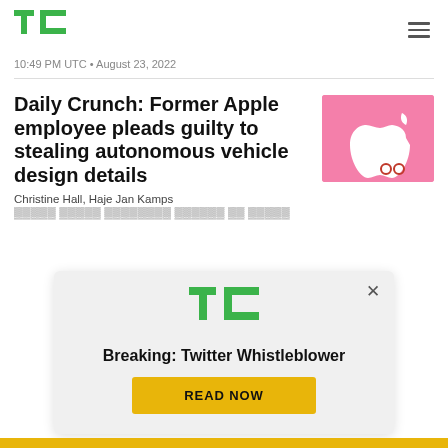TechCrunch logo and navigation
10:49 PM UTC • August 23, 2022
Daily Crunch: Former Apple employee pleads guilty to stealing autonomous vehicle design details
[Figure (photo): Apple logo on pink background]
Christine Hall, Haje Jan Kamps
[Figure (infographic): TechCrunch ad overlay with Breaking: Twitter Whistleblower headline and READ NOW button]